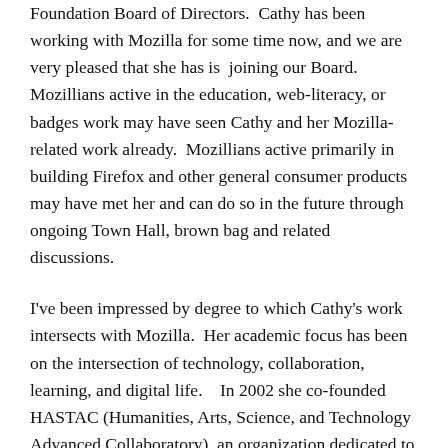Foundation Board of Directors.  Cathy has been working with Mozilla for some time now, and we are very pleased that she has is  joining our Board.  Mozillians active in the education, web-literacy, or badges work may have seen Cathy and her Mozilla-related work already.  Mozillians active primarily in building Firefox and other general consumer products may have met her and can do so in the future through ongoing Town Hall, brown bag and related discussions.
I've been impressed by degree to which Cathy's work intersects with Mozilla.  Her academic focus has been on the intersection of technology, collaboration, learning, and digital life.   In 2002 she co-founded HASTAC (Humanities, Arts, Science, and Technology Advanced Collaboratory), an organization dedicated to rethinking the future of learning in the digital age.  We saw HASTAC in action during the first Mozilla Festival (“Learning, Freedom and the Web”) in Barcelona a couple of years ago.  I was struck by the